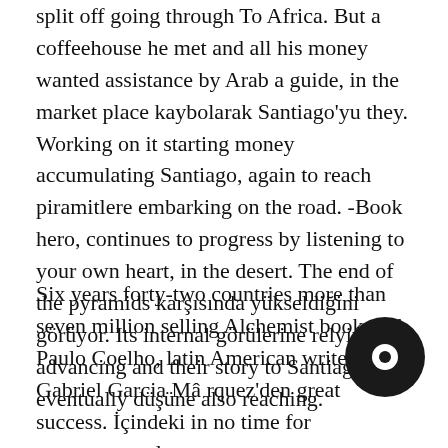split off going through To Africa. But a coffeehouse he met and all his money wanted assistance by Arab a guide, in the market place kaybolarak Santiago'yu they. Working on it starting money accumulating Santiago, again to reach piramitlere embarking on the road. -Book hero, continues to progress by listening to your own heart, in the desert. The end of the pyramids karşısında yükseldiğini görüyor. Its internal görülerine relying on advancing and their story to Santiago, eventually düşüne also reaching.
Six years forty-two countries more than seven million selling Alchemist book with Paulo Coelho, latin American writer Gabriel Garcia Mâ rquez'den great success. İçindeki in no time for vazgeçmeyenler
[Figure (logo): Black circular logo/icon in the lower right area of the page]